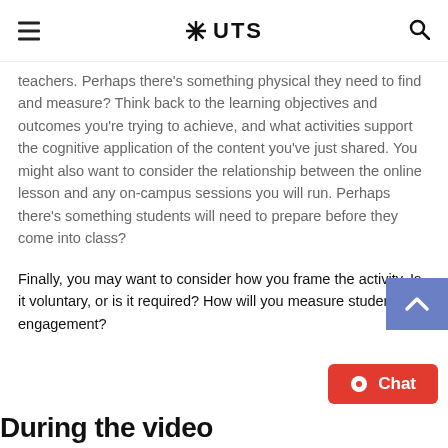UTS
teachers. Perhaps there's something physical they need to find and measure? Think back to the learning objectives and outcomes you're trying to achieve, and what activities support the cognitive application of the content you've just shared. You might also want to consider the relationship between the online lesson and any on-campus sessions you will run. Perhaps there's something students will need to prepare before they come into class?
Finally, you may want to consider how you frame the activity. Is it voluntary, or is it required? How will you measure student engagement?
During the video